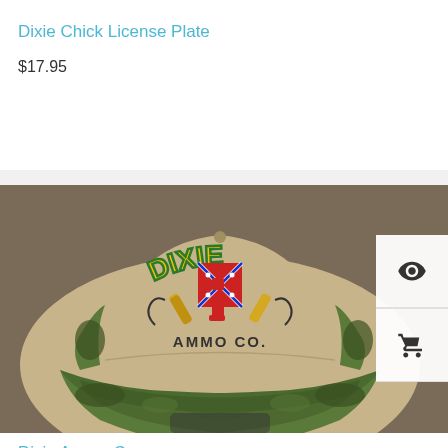Dixie Chick License Plate
$17.95
[Figure (photo): A camo baseball cap with embroidered 'DIXIE AMMO CO.' logo featuring a Confederate flag, bullets, and red high-heeled boots]
Dixie Ammo Cap
$24.95